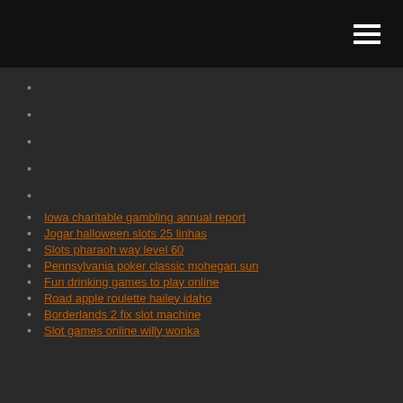Iowa charitable gambling annual report
Jogar halloween slots 25 linhas
Slots pharaoh way level 60
Pennsylvania poker classic mohegan sun
Fun drinking games to play online
Road apple roulette hailey idaho
Borderlands 2 fix slot machine
Slot games online willy wonka